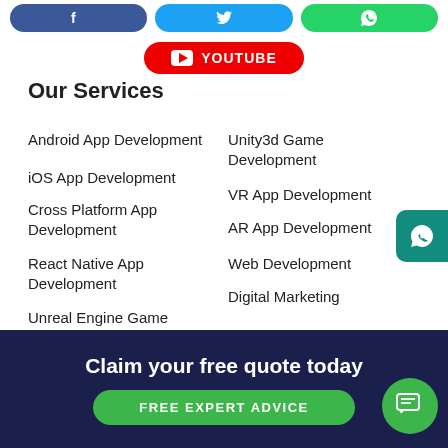[Figure (other): Social media buttons: Facebook (blue), Twitter (light blue), WhatsApp (green), YouTube (red)]
Our Services
Android App Development
iOS App Development
Cross Platform App Development
React Native App Development
Unreal Engine Game
Unity3d Game Development
VR App Development
AR App Development
Web Development
Digital Marketing
Claim your free quote today
FREE EXPERT ADVICE